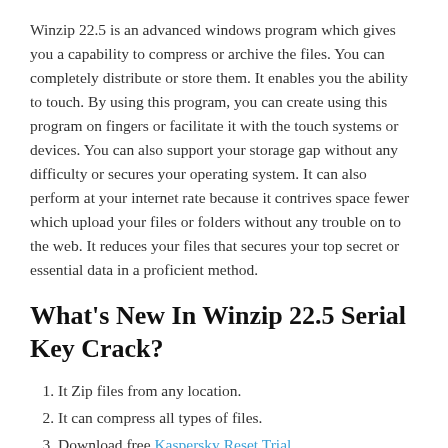Winzip 22.5 is an advanced windows program which gives you a capability to compress or archive the files. You can completely distribute or store them. It enables you the ability to touch. By using this program, you can create using this program on fingers or facilitate it with the touch systems or devices. You can also support your storage gap without any difficulty or secures your operating system. It can also perform at your internet rate because it contrives space fewer which upload your files or folders without any trouble on to the web. It reduces your files that secures your top secret or essential data in a proficient method.
What's New In Winzip 22.5 Serial Key Crack?
It Zip files from any location.
It can compress all types of files.
Download free Kaspersky Reset Trial.